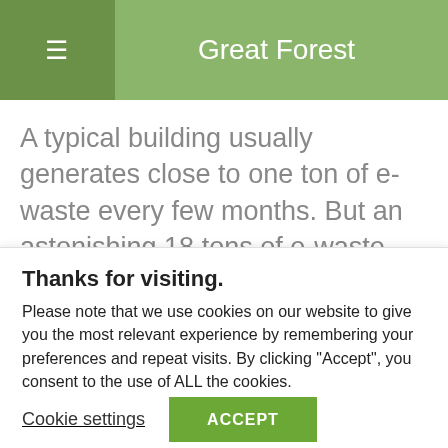Great Forest
A typical building usually generates close to one ton of e-waste every few months. But an astonishing 18 tons of e-waste was collected from one building alone in the first two weeks of a
Thanks for visiting.
Please note that we use cookies on our website to give you the most relevant experience by remembering your preferences and repeat visits. By clicking "Accept", you consent to the use of ALL the cookies.
Cookie settings   ACCEPT